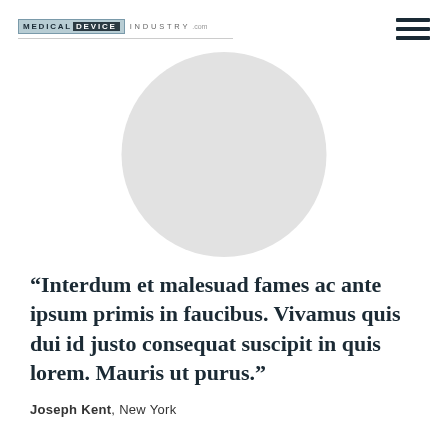MEDICALDEVICE INDUSTRY.com
[Figure (photo): Circular avatar/profile photo placeholder — a large light grey circle representing a person's headshot]
“Interdum et malesuad fames ac ante ipsum primis in faucibus. Vivamus quis dui id justo consequat suscipit in quis lorem. Mauris ut purus.”
Joseph Kent, New York